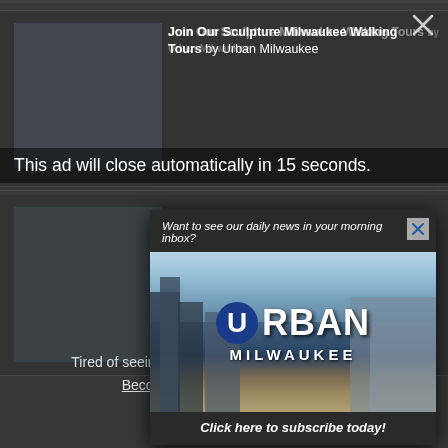[Figure (screenshot): Background webpage showing Urban Milwaukee article listings, dimmed behind popup overlay]
Join Our Sculpture Milwaukee Walking Tours by Urban Milwaukee
This ad will close automatically in 15 seconds.
[Figure (screenshot): Urban Milwaukee newsletter subscription popup modal with city skyline photo and logo overlay]
Want to see our daily news in your morning inbox?
Click here to subscribe today!
Tired of seeing banner ads on Urban Milwaukee? Become a member for $9/month.